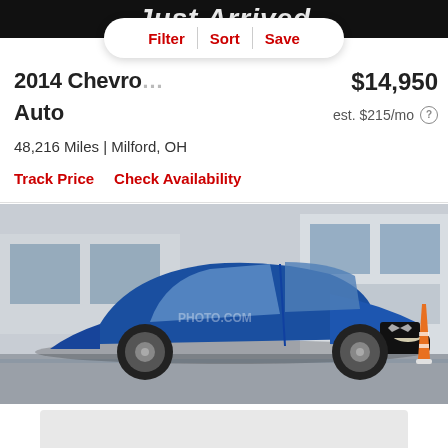Just Arrived
Filter   Sort   Save
2014 Chevro... Auto
$14,950
est. $215/mo
48,216 Miles | Milford, OH
Track Price   Check Availability
[Figure (photo): Blue 2014 Chevrolet compact car parked in front of a dealership, front 3/4 view, with a traffic cone visible in the background.]